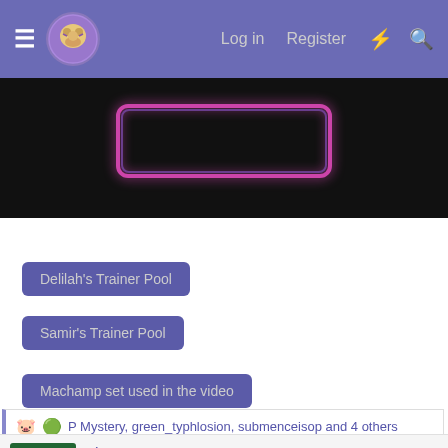Log in  Register
[Figure (screenshot): Dark video thumbnail with pink/purple neon rectangular border element in center]
Delilah's Trainer Pool
Samir's Trainer Pool
Machamp set used in the video
P Mystery, green_typhlosion, submenceisop and 4 others
atsync
Where the "intelligence" of TRAINERS is put to the test!